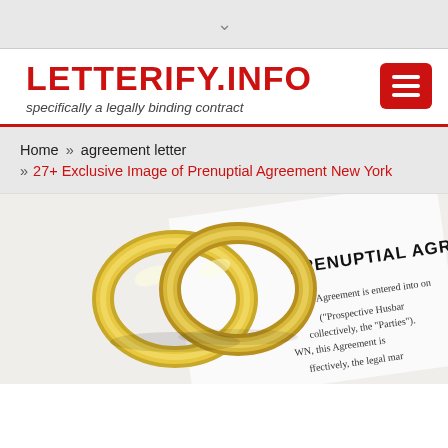▾
LETTERIFY.INFO
specifically a legally binding contract
Home » agreement letter » 27+ Exclusive Image of Prenuptial Agreement New York
[Figure (photo): Two gold wedding rings overlapping on top of a Prenuptial Agreement document, showing text 'PRENUPTIAL AGREEMENT' and partial legal text including 'this Agreement is entered into on', '("Prospective Husban', '("Prospective husban', 'collectively, the "Parties")', 'legal mar']